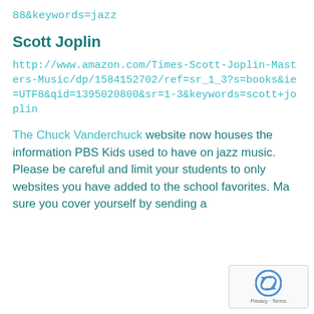88&keywords=jazz
Scott Joplin
http://www.amazon.com/Times-Scott-Joplin-Masters-Music/dp/1584152702/ref=sr_1_3?s=books&ie=UTF8&qid=1395020800&sr=1-3&keywords=scott+joplin
The Chuck Vanderchuck website now houses the information PBS Kids used to have on jazz music. Please be careful and limit your students to only websites you have added to the school favorites. Make sure you cover yourself by sending a